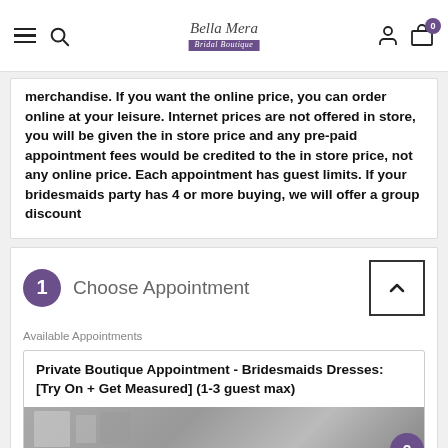Bella Mera Bridal Boutique
merchandise. If you want the online price, you can order online at your leisure. Internet prices are not offered in store, you will be given the in store price and any pre-paid appointment fees would be credited to the in store price, not any online price. Each appointment has guest limits. If your bridesmaids party has 4 or more buying, we will offer a group discount
1 Choose Appointment
Available Appointments
Private Boutique Appointment - Bridesmaids Dresses: [Try On + Get Measured] (1-3 guest max)